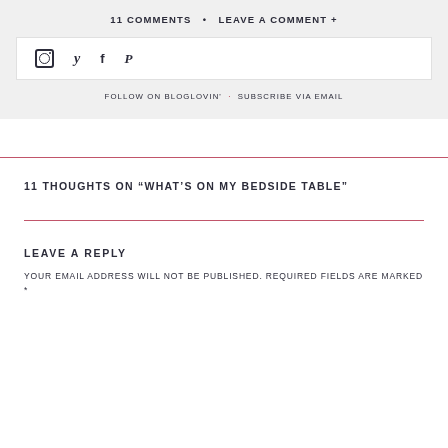11 COMMENTS • LEAVE A COMMENT +
[Figure (infographic): Social media icons: Instagram, Twitter, Facebook, Pinterest]
FOLLOW ON BLOGLOVIN' · SUBSCRIBE VIA EMAIL
11 THOUGHTS ON "WHAT'S ON MY BEDSIDE TABLE"
LEAVE A REPLY
YOUR EMAIL ADDRESS WILL NOT BE PUBLISHED. REQUIRED FIELDS ARE MARKED *